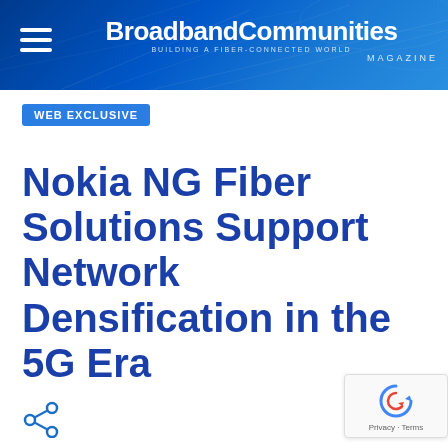BroadbandCommunities MAGAZINE — BUILDING A FIBER-CONNECTED WORLD
WEB EXCLUSIVE
Nokia NG Fiber Solutions Support Network Densification in the 5G Era